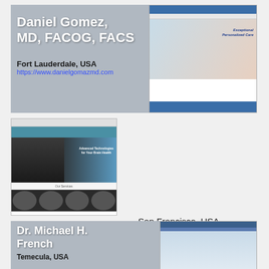[Figure (screenshot): Daniel Gomez MD FACOG FACS website screenshot showing a pregnant couple and Exceptional Personalized Care text]
Daniel Gomez, MD, FACOG, FACS
Fort Lauderdale, USA
https://www.danielgomazmd.com
[Figure (screenshot): Sara Edwards MD website screenshot showing Advanced Technologies for Your Brain Health]
San Francisco, USA
[Figure (screenshot): Dr. Michael H. French website screenshot]
Dr. Michael H. French
Temecula, USA